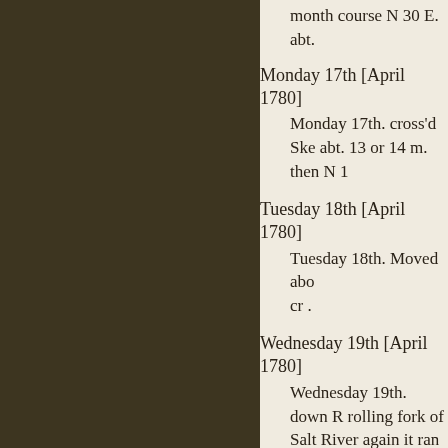month course N 30 E. abt.
Monday 17th [April 1780]
Monday 17th. cross'd Ske abt. 13 or 14 m. then N 1
Tuesday 18th [April 1780]
Tuesday 18th. Moved abo cr .
Wednesday 19th [April 1780]
Wednesday 19th. down R rolling fork of Salt River again it ran so crooked en
Thursday 20th [April 1780]
Thursday 20th. to day cro along a valley N 10 E. 3 m W. Side.
Friday 21st [April 1780]